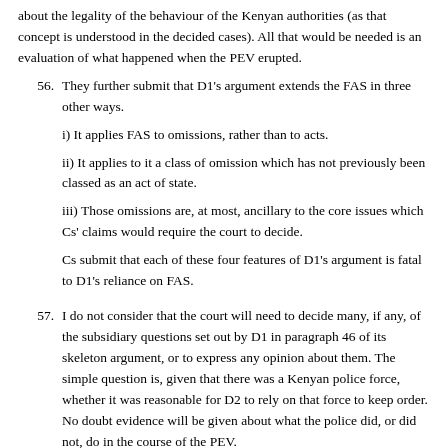about the legality of the behaviour of the Kenyan authorities (as that concept is understood in the decided cases). All that would be needed is an evaluation of what happened when the PEV erupted.
56. They further submit that D1's argument extends the FAS in three other ways.

i) It applies FAS to omissions, rather than to acts.

ii) It applies to it a class of omission which has not previously been classed as an act of state.

iii) Those omissions are, at most, ancillary to the core issues which Cs' claims would require the court to decide.

Cs submit that each of these four features of D1's argument is fatal to D1's reliance on FAS.
57. I do not consider that the court will need to decide many, if any, of the subsidiary questions set out by D1 in paragraph 46 of its skeleton argument, or to express any opinion about them. The simple question is, given that there was a Kenyan police force, whether it was reasonable for D2 to rely on that force to keep order. No doubt evidence will be given about what the police did, or did not, do in the course of the PEV.